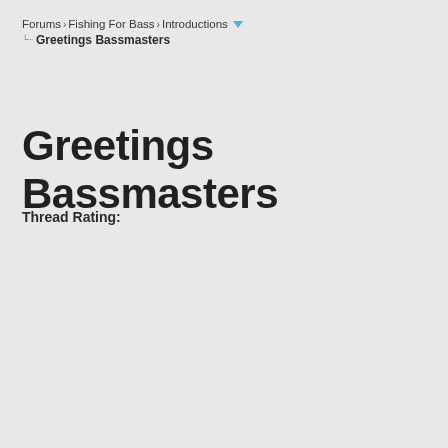Forums › Fishing For Bass › Introductions ▾
Greetings Bassmasters
Greetings Bassmasters
Thread Rating: